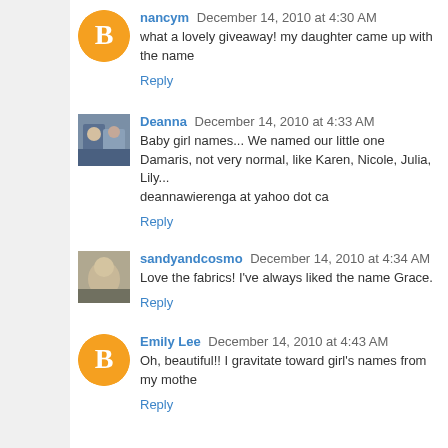nancym December 14, 2010 at 4:30 AM
what a lovely giveaway! my daughter came up with the name
Reply
Deanna December 14, 2010 at 4:33 AM
Baby girl names... We named our little one Damaris, not very normal, like Karen, Nicole, Julia, Lily...
deannawierenga at yahoo dot ca
Reply
sandyandcosmo December 14, 2010 at 4:34 AM
Love the fabrics! I've always liked the name Grace.
Reply
Emily Lee December 14, 2010 at 4:43 AM
Oh, beautiful!! I gravitate toward girl's names from my mothe
Reply